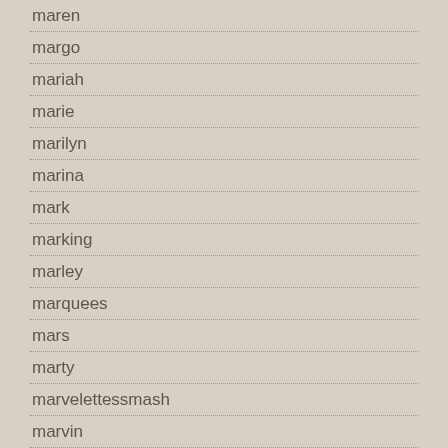maren
margo
mariah
marie
marilyn
marina
mark
marking
marley
marquees
mars
marty
marvelettessmash
marvin
massive
master